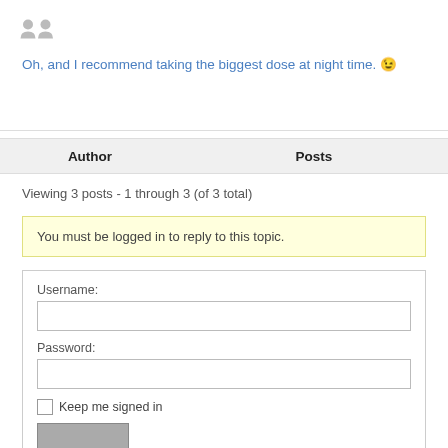[Figure (illustration): Two grey avatar/person silhouette icons side by side at top of page]
Oh, and I recommend taking the biggest dose at night time. 😉
| Author | Posts |
| --- | --- |
Viewing 3 posts - 1 through 3 (of 3 total)
You must be logged in to reply to this topic.
Username:
Password:
Keep me signed in